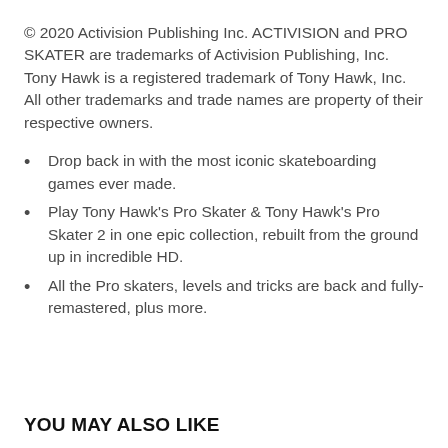© 2020 Activision Publishing Inc. ACTIVISION and PRO SKATER are trademarks of Activision Publishing, Inc. Tony Hawk is a registered trademark of Tony Hawk, Inc. All other trademarks and trade names are property of their respective owners.
Drop back in with the most iconic skateboarding games ever made.
Play Tony Hawk's Pro Skater & Tony Hawk's Pro Skater 2 in one epic collection, rebuilt from the ground up in incredible HD.
All the Pro skaters, levels and tricks are back and fully-remastered, plus more.
YOU MAY ALSO LIKE